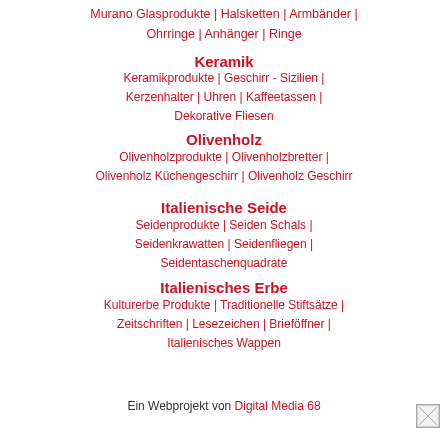Murano Glasprodukte | Halsketten | Armbänder | Ohrringe | Anhänger | Ringe
Keramik
Keramikprodukte | Geschirr - Sizilien | Kerzenhalter | Uhren | Kaffeetassen | Dekorative Fliesen
Olivenholz
Olivenholzprodukte | Olivenholzbretter | Olivenholz Küchengeschirr | Olivenholz Geschirr
Italienische Seide
Seidenprodukte | Seiden Schals | Seidenkrawatten | Seidenfliegen | Seidentaschenquadrate
Italienisches Erbe
Kulturerbe Produkte | Traditionelle Stiftsätze | Zeitschriften | Lesezeichen | Brieföffner | Italienisches Wappen
Ein Webprojekt von Digital Media 68